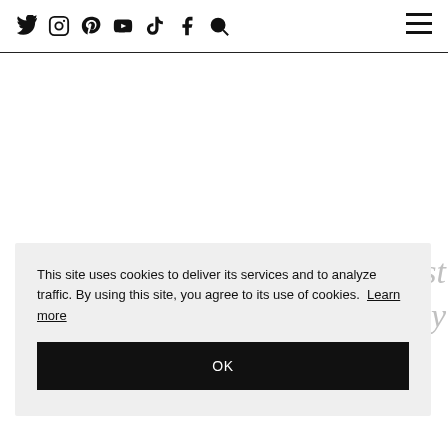Twitter Instagram Pinterest YouTube TikTok Facebook Search [hamburger menu] You may also enjoy:
This site uses cookies to deliver its services and to analyze traffic. By using this site, you agree to its use of cookies. Learn more
OK